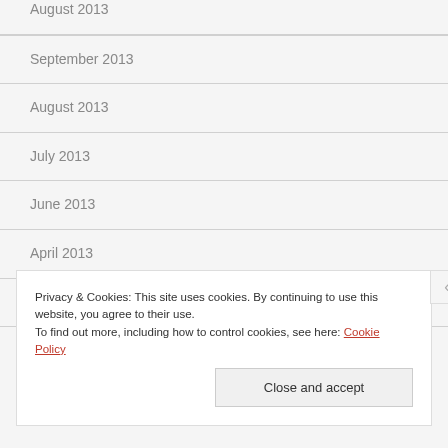August 2013
September 2013
August 2013
July 2013
June 2013
April 2013
February 2013
Privacy & Cookies: This site uses cookies. By continuing to use this website, you agree to their use. To find out more, including how to control cookies, see here: Cookie Policy
Close and accept